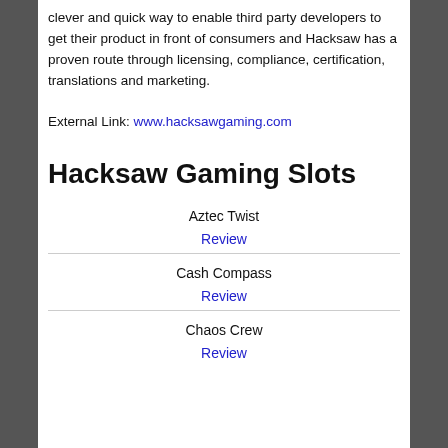clever and quick way to enable third party developers to get their product in front of consumers and Hacksaw has a proven route through licensing, compliance, certification, translations and marketing.
External Link: www.hacksawgaming.com
Hacksaw Gaming Slots
| Slot | Link |
| --- | --- |
| Aztec Twist | Review |
| Cash Compass | Review |
| Chaos Crew | Review |